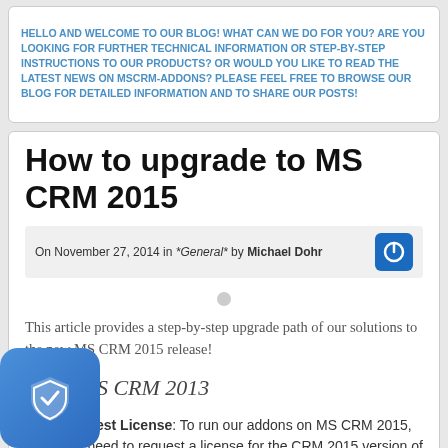HELLO AND WELCOME TO OUR BLOG! WHAT CAN WE DO FOR YOU? ARE YOU LOOKING FOR FURTHER TECHNICAL INFORMATION OR STEP-BY-STEP INSTRUCTIONS TO OUR PRODUCTS? OR WOULD YOU LIKE TO READ THE LATEST NEWS ON MSCRM-ADDONS? PLEASE FEEL FREE TO BROWSE OUR BLOG FOR DETAILED INFORMATION AND TO SHARE OUR POSTS!
How to upgrade to MS CRM 2015
On November 27, 2014 in *General* by Michael Dohr
This article provides a step-by-step upgrade path of our solutions to the new MS CRM 2015 release!
From MS CRM 2013
Request License: To run our addons on MS CRM 2015, you need to request a license for the CRM 2015 version of our solution.